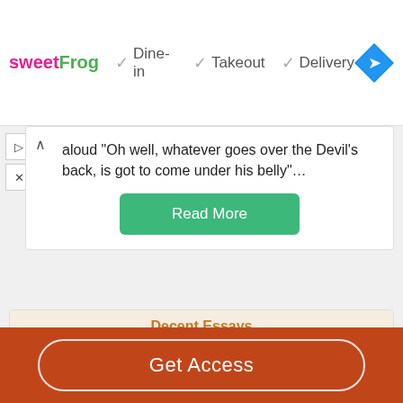[Figure (screenshot): sweetFrog advertisement banner with checkmarks for Dine-in, Takeout, Delivery and a blue navigation icon]
aloud “Oh well, whatever goes over the Devil’s back, is got to come under his belly”…
Read More
Decent Essays
The Lion King: A Dance That Changed My Life
Get Access